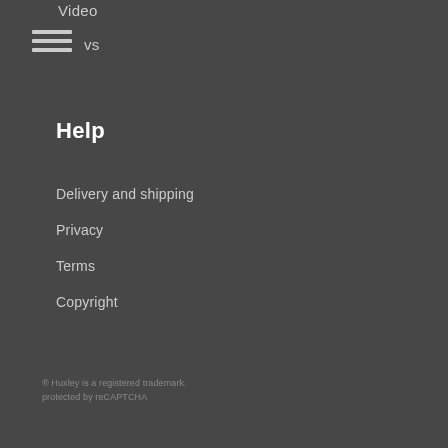Video
[Figure (other): Hamburger menu icon (three horizontal lines)]
vs
Help
Delivery and shipping
Privacy
Terms
Copyright
® Huxley is a registered trademark. protected by reCAPTCHA